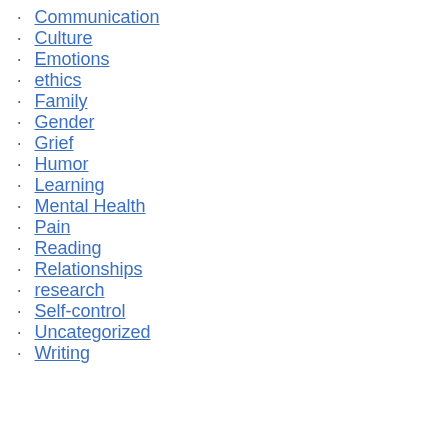Communication
Culture
Emotions
ethics
Family
Gender
Grief
Humor
Learning
Mental Health
Pain
Reading
Relationships
research
Self-control
Uncategorized
Writing